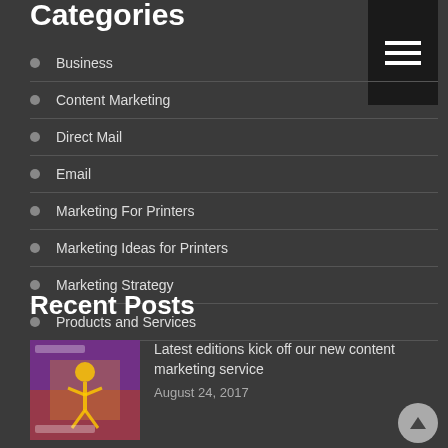Categories
Business
Content Marketing
Direct Mail
Email
Marketing For Printers
Marketing Ideas for Printers
Marketing Strategy
Products and Services
Recent Posts
Latest editions kick off our new content marketing service
August 24, 2017